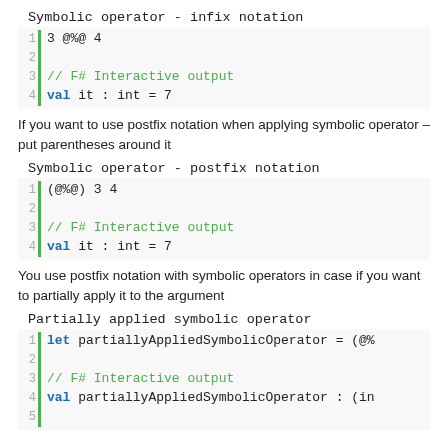Symbolic operator - infix notation
[Figure (screenshot): Code block showing infix notation: line 1: 3 @%@ 4, line 2: empty, line 3: // F# Interactive output, line 4: val it : int = 7]
If you want to use postfix notation when applying symbolic operator – put parentheses around it
Symbolic operator - postfix notation
[Figure (screenshot): Code block showing postfix notation: line 1: (@%@) 3 4, line 2: empty, line 3: // F# Interactive output, line 4: val it : int = 7]
You use postfix notation with symbolic operators in case if you want to partially apply it to the argument
Partially applied symbolic operator
[Figure (screenshot): Code block showing partially applied symbolic operator: line 1: let partiallyAppliedSymbolicOperator = (@%, line 2: empty, line 3: // F# Interactive output, line 4: val partiallyAppliedSymbolicOperator : (in, line 5: empty]